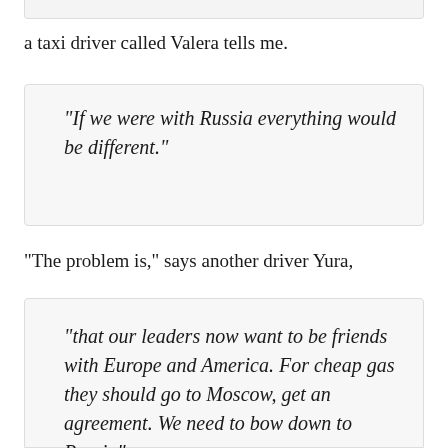a taxi driver called Valera tells me.
“If we were with Russia everything would be different.”
“The problem is,” says another driver Yura,
“that our leaders now want to be friends with Europe and America. For cheap gas they should go to Moscow, get an agreement. We need to bow down to Russia”.